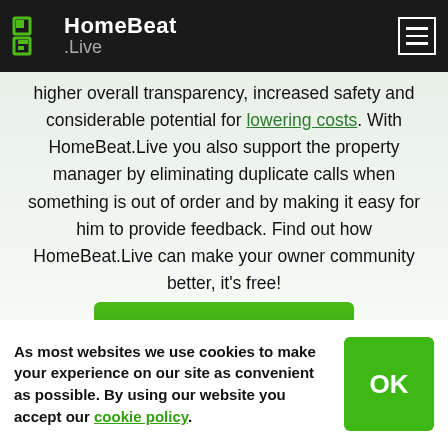HomeBeat
.Live
higher overall transparency, increased safety and considerable potential for lowering costs. With HomeBeat.Live you also support the property manager by eliminating duplicate calls when something is out of order and by making it easy for him to provide feedback. Find out how HomeBeat.Live can make your owner community better, it’s free!
[Figure (illustration): Green Learn more button]
[Figure (illustration): ID card / badge icon with a padlock at the top]
As most websites we use cookies to make your experience on our site as convenient as possible. By using our website you accept our cookie policy.